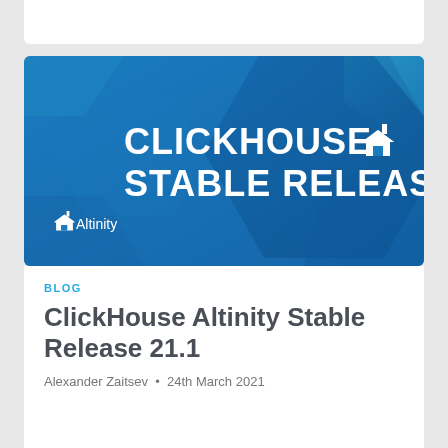[Figure (illustration): ClickHouse Altinity Stable Release promotional banner with blue geometric hexagon background, white bold text reading 'CLICKHOUSE STABLE RELEASE' with a house icon, and Altinity logo with house icon in lower left]
BLOG
ClickHouse Altinity Stable Release 21.1
Alexander Zaitsev • 24th March 2021